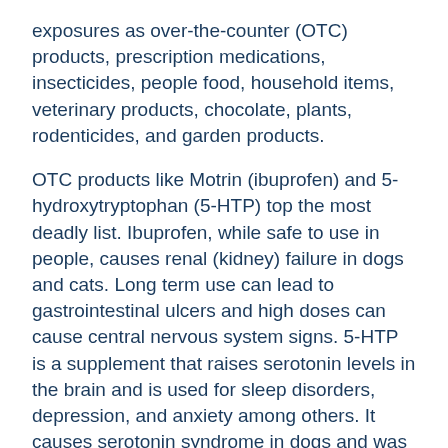exposures as over-the-counter (OTC) products, prescription medications, insecticides, people food, household items, veterinary products, chocolate, plants, rodenticides, and garden products.
OTC products like Motrin (ibuprofen) and 5-hydroxytryptophan (5-HTP) top the most deadly list. Ibuprofen, while safe to use in people, causes renal (kidney) failure in dogs and cats. Long term use can lead to gastrointestinal ulcers and high doses can cause central nervous system signs. 5-HTP is a supplement that raises serotonin levels in the brain and is used for sleep disorders, depression, and anxiety among others. It causes serotonin syndrome in dogs and was the top most deadly toxin in 2015.
Prescription product exposures are common and include a variety of products. While the list is too extensive to detail here, one class tops the most deadly list and has widespread use increasing the risk of exposure.  Amphetamines are a class of drug that includes many ADD/ADHD medications